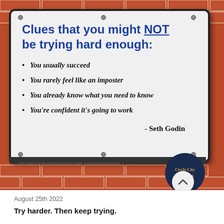[Figure (photo): A white rectangular sign mounted on a brick wall background. The sign contains a title in bold blue text reading 'Clues that you might NOT be trying hard enough:', followed by four italic bold bullet points, and an attribution to Seth Godin. A Circle City Coaching badge appears in the bottom right corner.]
Clues that you might NOT be trying hard enough:
You usually succeed
You rarely feel like an imposter
You already know what you need to know
You're confident it's going to work
- Seth Godin
https://seths.blog/2022/08/clues-that-you-might-not-be-trying-hard-enough/
August 25th 2022
Try harder. Then keep trying.